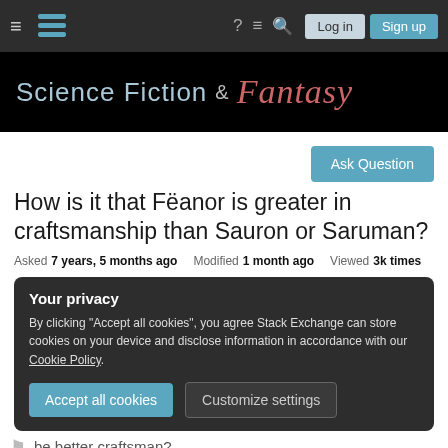Science Fiction & Fantasy Stack Exchange navigation bar with Log in and Sign up buttons
[Figure (screenshot): Science Fiction & Fantasy site header banner with teal 'Science Fiction' text and red italic 'Fantasy' text on black background]
Ask Question
How is it that Fëanor is greater in craftsmanship than Sauron or Saruman?
Asked 7 years, 5 months ago   Modified 1 month ago   Viewed 3k times
Your privacy
By clicking "Accept all cookies", you agree Stack Exchange can store cookies on your device and disclose information in accordance with our Cookie Policy.
Accept all cookies   Customize settings
be better craftsman?